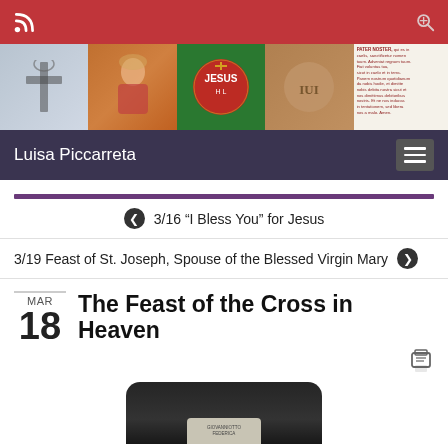Luisa Piccarreta
[Figure (screenshot): Website banner with religious images including a cross emblem, Madonna with child painting, Jesus monogram in green, a circular carved stone with IHS, and a Pater Noster prayer text panel]
3/16 “I Bless You” for Jesus
3/19 Feast of St. Joseph, Spouse of the Blessed Virgin Mary
MAR
18
The Feast of the Cross in Heaven
[Figure (photo): Bottom portion of a dark stone cross monument or tombstone with a small plaque, partially visible at bottom of page]